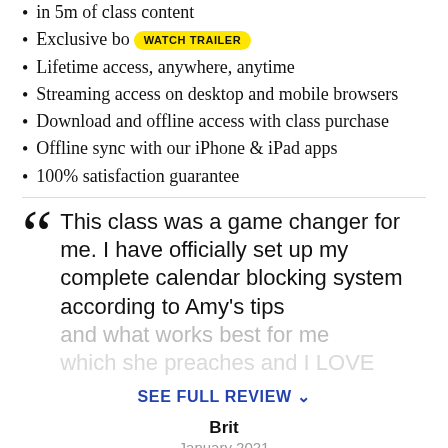in 5m of class content
Exclusive bonus WATCH TRAILER
Lifetime access, anywhere, anytime
Streaming access on desktop and mobile browsers
Download and offline access with class purchase
Offline sync with our iPhone & iPad apps
100% satisfaction guarantee
This class was a game changer for me. I have officially set up my complete calendar blocking system according to Amy's tips and what works best for me which she preaches and I LOVE
SEE FULL REVIEW
Brit
January 2021